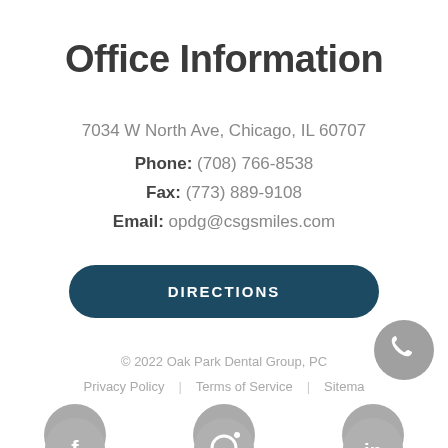Office Information
7034 W North Ave, Chicago, IL 60707
Phone: (708) 766-8538
Fax: (773) 889-9108
Email: opdg@csgsmiles.com
DIRECTIONS
© 2022 Oak Park Dental Group, PC
Privacy Policy | Terms of Service | Sitemap